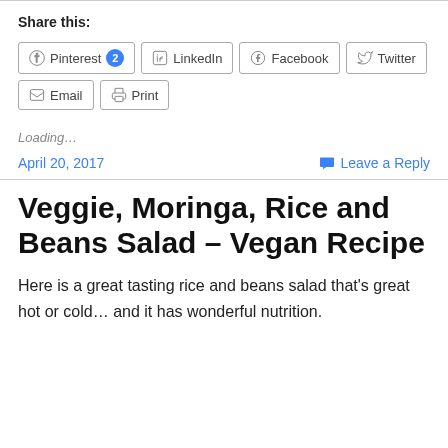Share this:
Pinterest 2  LinkedIn  Facebook  Twitter  Email  Print
Loading…
April 20, 2017   Leave a Reply
Veggie, Moringa, Rice and Beans Salad – Vegan Recipe
Here is a great tasting rice and beans salad that's great hot or cold… and it has wonderful nutrition.